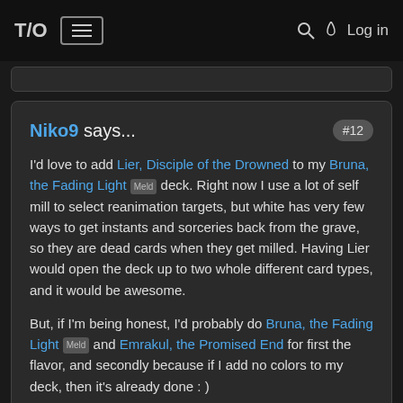T/O  ☰  🔍 💧 Log in
Niko9 says... #12

I'd love to add Lier, Disciple of the Drowned to my Bruna, the Fading Light Meld deck. Right now I use a lot of self mill to select reanimation targets, but white has very few ways to get instants and sorceries back from the grave, so they are dead cards when they get milled. Having Lier would open the deck up to two whole different card types, and it would be awesome.

But, if I'm being honest, I'd probably do Bruna, the Fading Light Meld and Emrakul, the Promised End for first the flavor, and secondly because if I add no colors to my deck, then it's already done : )

April 5, 2022 5:58 p.m.   3👍